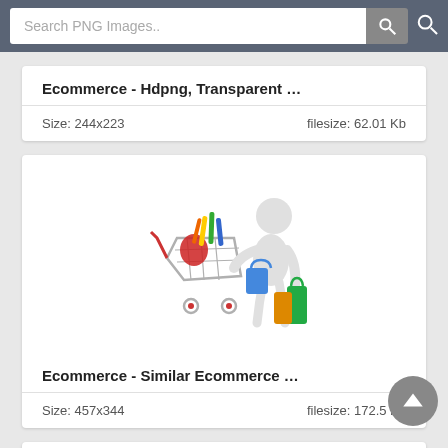Search PNG Images..
Ecommerce - Hdpng, Transparent ...
Size: 244x223    filesize: 62.01 Kb
[Figure (illustration): 3D figure of a person with shopping cart full of items and shopping bags]
Ecommerce - Similar Ecommerce ...
Size: 457x344    filesize: 172.5 Kb
[Figure (illustration): Partial view of another ecommerce image, showing an arrow or similar shape]